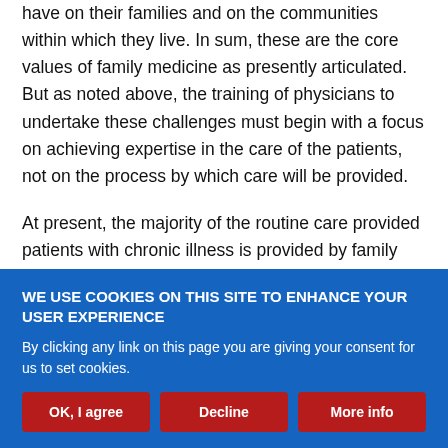have on their families and on the communities within which they live. In sum, these are the core values of family medicine as presently articulated. But as noted above, the training of physicians to undertake these challenges must begin with a focus on achieving expertise in the care of the patients, not on the process by which care will be provided.
At present, the majority of the routine care provided patients with chronic illness is provided by family physicians, general internists, and subspecialty internists. Despite this, in none of the disciplines are the residency programs designed properly to train future practitioners to care for those patients. By embarking on the FFM
WE USE COOKIES ON THIS SITE TO ENHANCE YOUR USER EXPERIENCE
By clicking any link on this page you are giving your consent for us to set cookies.